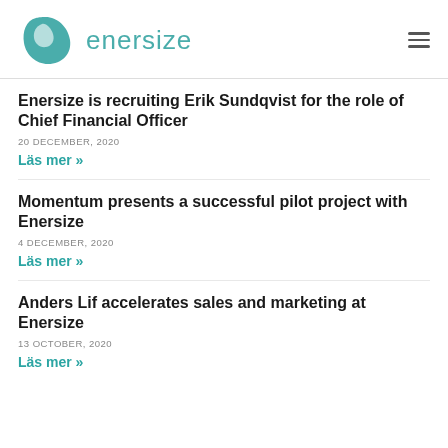[Figure (logo): Enersize logo: teal organic blob shape with white interior highlight, followed by 'enersize' text in teal thin lettering]
Enersize is recruiting Erik Sundqvist for the role of Chief Financial Officer
20 DECEMBER, 2020
Läs mer »
Momentum presents a successful pilot project with Enersize
4 DECEMBER, 2020
Läs mer »
Anders Lif accelerates sales and marketing at Enersize
13 OCTOBER, 2020
Läs mer »